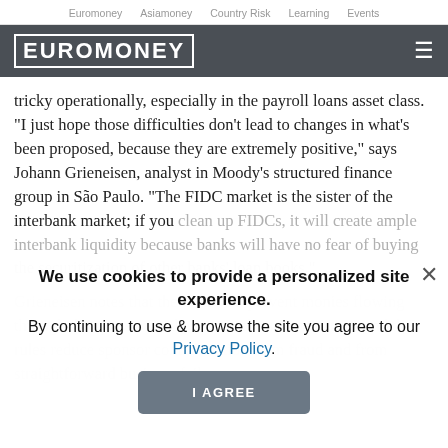Euromoney   Asiamoney   Country Risk   Learning   Events
EUROMONEY
tricky operationally, especially in the payroll loans asset class. "I just hope those difficulties don't lead to changes in what's been proposed, because they are extremely positive," says Johann Grieneisen, analyst in Moody's structured finance group in São Paulo. "The FIDC market is the sister of the interbank market; if you clean up FIDCs, it will create ample interbank liquidity because banks will have no fear of buying the securitization of other banks' loan books."
Grieneisen notes that the rules will prevent monies flowing through the sponsor on the way to the securitization, and thus reduce sponsor contamination from fraud and from straightforward business failure.
We use cookies to provide a personalized site experience.
By continuing to use & browse the site you agree to our Privacy Policy.
I AGREE